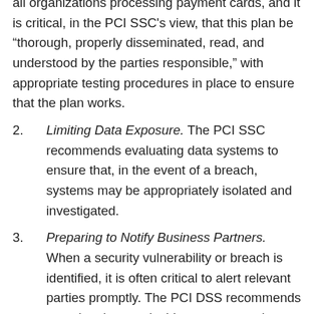all organizations processing payment cards, and it is critical, in the PCI SSC's view, that this plan be "thorough, properly disseminated, read, and understood by the parties responsible," with appropriate testing procedures in place to ensure that the plan works.
2. Limiting Data Exposure. The PCI SSC recommends evaluating data systems to ensure that, in the event of a breach, systems may be appropriately isolated and investigated.
3. Preparing to Notify Business Partners. When a security vulnerability or breach is identified, it is often critical to alert relevant parties promptly. The PCI DSS recommends ensuring that any incident response plan contains appropriate contact information, such as the relevant